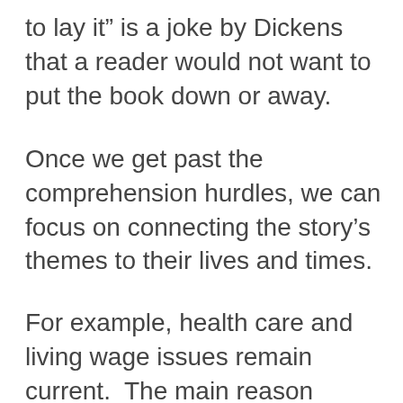to lay it” is a joke by Dickens that a reader would not want to put the book down or away.
Once we get past the comprehension hurdles, we can focus on connecting the story’s themes to their lives and times.
For example, health care and living wage issues remain current.  The main reason Dickens created Tiny